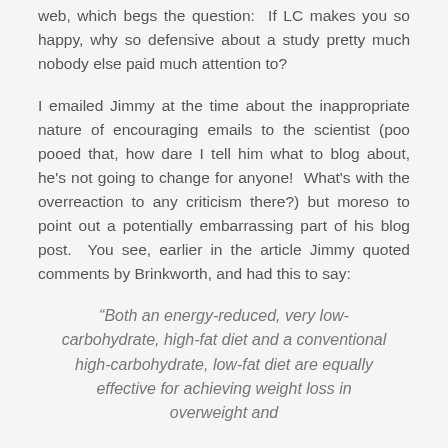web, which begs the question: If LC makes you so happy, why so defensive about a study pretty much nobody else paid much attention to?
I emailed Jimmy at the time about the inappropriate nature of encouraging emails to the scientist (poo pooed that, how dare I tell him what to blog about, he's not going to change for anyone! What's with the overreaction to any criticism there?) but moreso to point out a potentially embarrassing part of his blog post. You see, earlier in the article Jimmy quoted comments by Brinkworth, and had this to say:
“Both an energy-reduced, very low-carbohydrate, high-fat diet and a conventional high-carbohydrate, low-fat diet are equally effective for achieving weight loss in overweight and